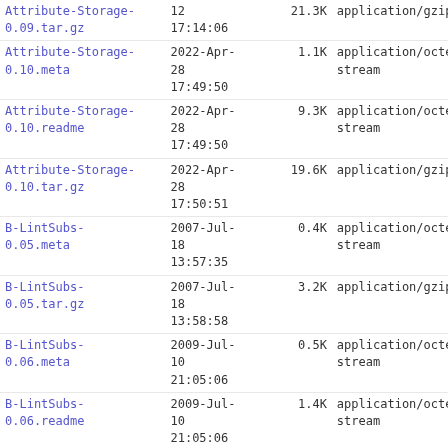| Filename | Date/Time | Size | Type |
| --- | --- | --- | --- |
| Attribute-Storage-0.09.tar.gz | 12
17:14:06 | 21.3K | application/gzip |
| Attribute-Storage-0.10.meta | 2022-Apr-28
17:49:50 | 1.1K | application/octet-stream |
| Attribute-Storage-0.10.readme | 2022-Apr-28
17:49:50 | 9.3K | application/octet-stream |
| Attribute-Storage-0.10.tar.gz | 2022-Apr-28
17:50:51 | 19.6K | application/gzip |
| B-LintSubs-0.05.meta | 2007-Jul-18
13:57:35 | 0.4K | application/octet-stream |
| B-LintSubs-0.05.tar.gz | 2007-Jul-18
13:58:58 | 3.2K | application/gzip |
| B-LintSubs-0.06.meta | 2009-Jul-10
21:05:06 | 0.5K | application/octet-stream |
| B-LintSubs-0.06.readme | 2009-Jul-10
21:05:06 | 1.4K | application/octet-stream |
| B-LintSubs-0.06.tar.gz | 2009-Jul-10
21:06:23 | 11.6K | application/gzip |
| CHECKSUMS | 2022-Aug-31
16:47:31 | 384.1K | application/octet-stream |
| circle-be-0.142470.meta | 2014-Sep-05
18:57:58 | 3.7K | application/octet-stream |